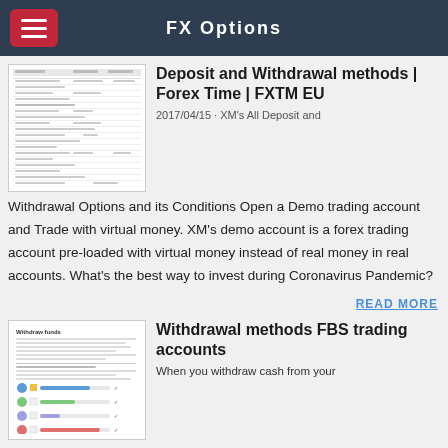FX Options
[Figure (screenshot): Thumbnail of a deposit and withdrawal methods table/form page]
Deposit and Withdrawal methods | Forex Time | FXTM EU
2017/04/15 · XM's All Deposit and Withdrawal Options and its Conditions Open a Demo trading account and Trade with virtual money. XM's demo account is a forex trading account pre-loaded with virtual money instead of real money in real accounts. What's the best way to invest during Coronavirus Pandemic?
READ MORE
[Figure (screenshot): Thumbnail of Withdraw Funds page showing payment options and checkboxes]
Withdrawal methods FBS trading accounts
When you withdraw cash from your OneCoin Account, please make sure that you first fill in all information on update the form provided in your Profile in the...